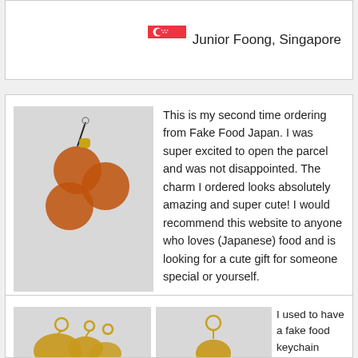[Figure (photo): Singapore flag icon]
Junior Foong, Singapore
[Figure (photo): Product photo of orange ball phone charm on light grey background]
This is my second time ordering from Fake Food Japan. I was super excited to open the parcel and was not disappointed. The charm I ordered looks absolutely amazing and super cute! I would recommend this website to anyone who loves (Japanese) food and is looking for a cute gift for someone special or yourself.
[Figure (photo): Netherlands flag icon]
L. Ip, Netherlands
[Figure (photo): Product photo of golden cookie keychains]
[Figure (photo): Product photo of golden food keychain]
I used to have a fake food keychain gifted to me by a Japanese foreign exchange student. Since I liked the concept so much, I decided